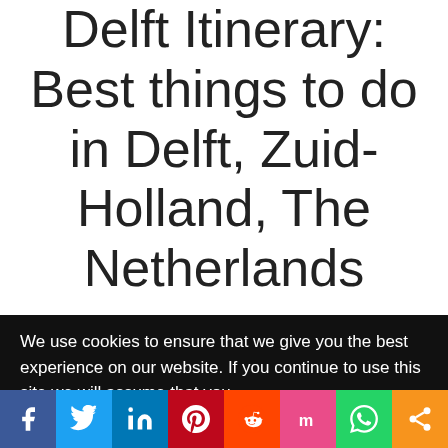Delft Itinerary: Best things to do in Delft, Zuid-Holland, The Netherlands
Delft, Zuid-Holland     08/11/2018
We use cookies to ensure that we give you the best experience on our website. If you continue to use this site we will assume that you
[Figure (infographic): Social share bar with icons for Facebook, Twitter, LinkedIn, Pinterest, Reddit, Mix, WhatsApp, and a share button]